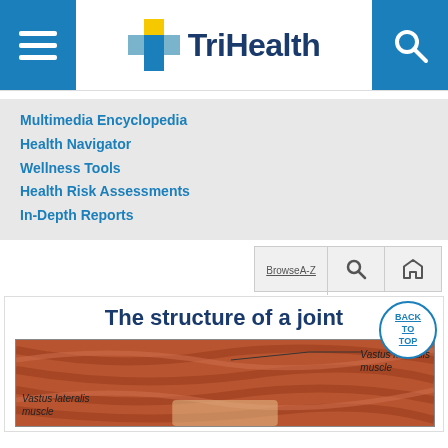TriHealth
Multimedia Encyclopedia
Health Navigator
Wellness Tools
Health Risk Assessments
In-Depth Reports
The structure of a joint
[Figure (illustration): Anatomical illustration of a joint showing Vastus lateralis muscle and Vastus medialis muscle labels]